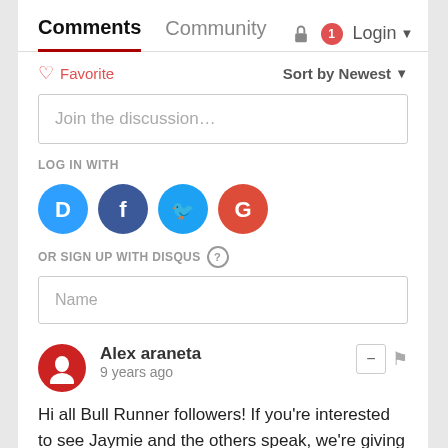Comments   Community   Login
♡ Favorite   Sort by Newest
Join the discussion…
LOG IN WITH
[Figure (illustration): Social login buttons: Disqus (blue), Facebook (dark blue), Twitter (blue), Google (red)]
OR SIGN UP WITH DISQUS ?
Name
Alex araneta
9 years ago
Hi all Bull Runner followers! If you're interested to see Jaymie and the others speak, we're giving all Bull Runners a special,special discounted ticket price. Pls. Call/text 0917-8511115 or send me an